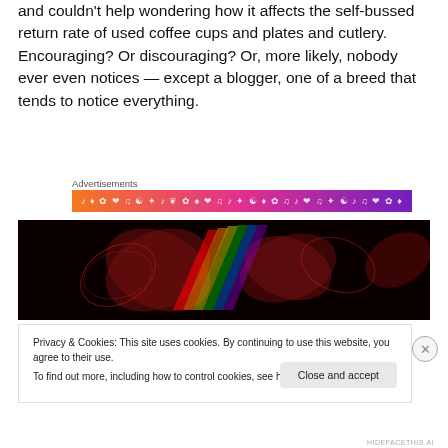and couldn't help wondering how it affects the self-bussed return rate of used coffee cups and plates and cutlery. Encouraging? Or discouraging? Or, more likely, nobody ever even notices — except a blogger, one of a breed that tends to notice everything.
Advertisements
[Figure (illustration): Colorful horizontal advertisement banner with gradient from orange to magenta to purple, decorated with small white icons and symbols]
[Figure (photo): Dark photograph showing red illuminated butterfly or flower shapes with rainbow colored light beams on a dark background]
Privacy & Cookies: This site uses cookies. By continuing to use this website, you agree to their use.
To find out more, including how to control cookies, see here: Cookie Policy
Close and accept